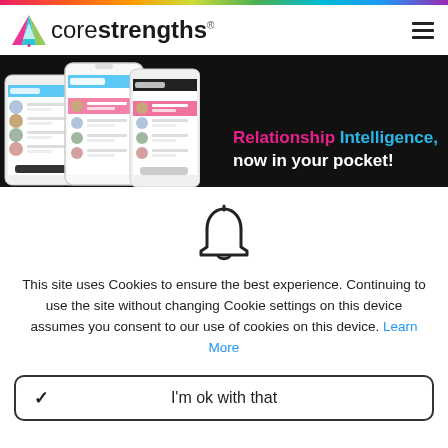corestrengths
[Figure (screenshot): Hero banner showing three smartphone screens with 'Compare' interface on a black background, with text 'Relationship Intelligence, now in your pocket!']
[Figure (illustration): Bell/notification icon outline in black]
This site uses Cookies to ensure the best experience. Continuing to use the site without changing Cookie settings on this device assumes you consent to our use of cookies on this device. Learn More
I'm ok with that